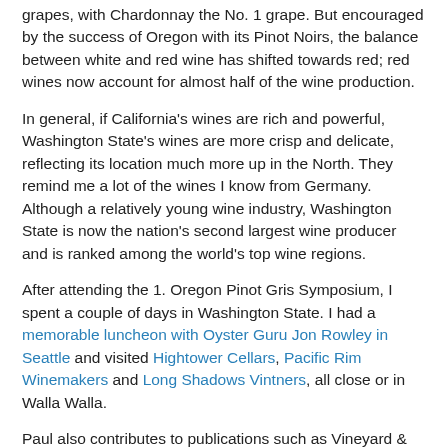grapes, with Chardonnay the No. 1 grape. But encouraged by the success of Oregon with its Pinot Noirs, the balance between white and red wine has shifted towards red; red wines now account for almost half of the wine production.
In general, if California's wines are rich and powerful, Washington State's wines are more crisp and delicate, reflecting its location much more up in the North. They remind me a lot of the wines I know from Germany. Although a relatively young wine industry, Washington State is now the nation's second largest wine producer and is ranked among the world's top wine regions.
After attending the 1. Oregon Pinot Gris Symposium, I spent a couple of days in Washington State. I had a memorable luncheon with Oyster Guru Jon Rowley in Seattle and visited Hightower Cellars, Pacific Rim Winemakers and Long Shadows Vintners, all close or in Walla Walla.
Paul also contributes to publications such as Vineyard & Winery Management, Yakima Herald-Republic, the Walla Walla Union-Bulletin and the Spokane Spokesman-Review.